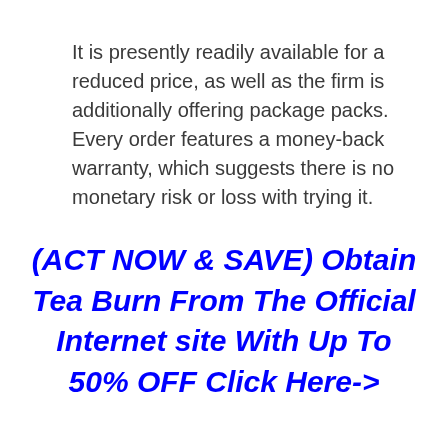It is presently readily available for a reduced price, as well as the firm is additionally offering package packs. Every order features a money-back warranty, which suggests there is no monetary risk or loss with trying it.
(ACT NOW & SAVE) Obtain Tea Burn From The Official Internet site With Up To 50% OFF Click Here->